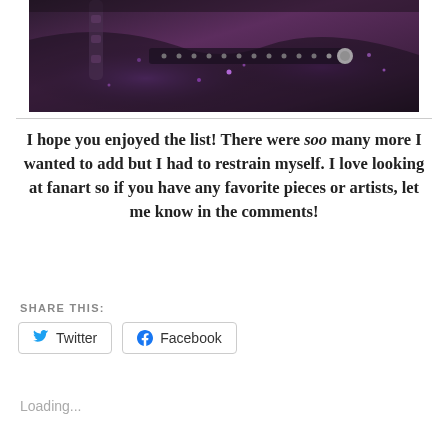[Figure (illustration): Dark fantasy digital artwork showing a figure in purple/dark tones with robotic or gothic elements, cropped at the top of the page]
I hope you enjoyed the list! There were soo many more I wanted to add but I had to restrain myself. I love looking at fanart so if you have any favorite pieces or artists, let me know in the comments!
SHARE THIS:
Twitter
Facebook
Loading...